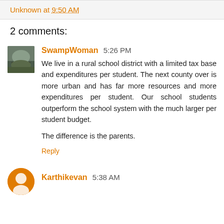Unknown at 9:50 AM
2 comments:
SwampWoman 5:26 PM
We live in a rural school district with a limited tax base and expenditures per student. The next county over is more urban and has far more resources and more expenditures per student. Our school students outperform the school system with the much larger per student budget.

The difference is the parents.
Reply
Karthikevan 5:38 AM